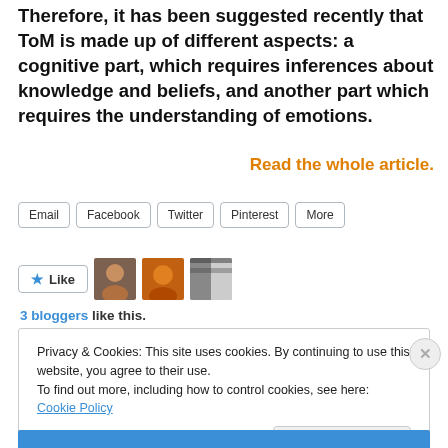Therefore, it has been suggested recently that ToM is made up of different aspects: a cognitive part, which requires inferences about knowledge and beliefs, and another part which requires the understanding of emotions.
Read the whole article.
[Figure (screenshot): Share buttons row: Email, Facebook, Twitter, Pinterest, More]
[Figure (screenshot): Like button with star icon, followed by three small blogger avatar images]
3 bloggers like this.
Privacy & Cookies: This site uses cookies. By continuing to use this website, you agree to their use.
To find out more, including how to control cookies, see here: Cookie Policy
Close and accept